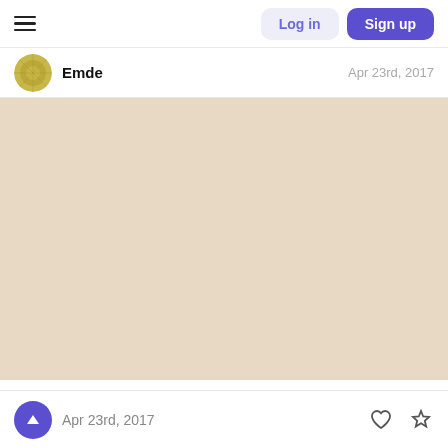Log in | Sign up
Emde  Apr 23rd, 2017
[Figure (photo): Large beige/tan colored image area (post content placeholder)]
Apr 23rd, 2017